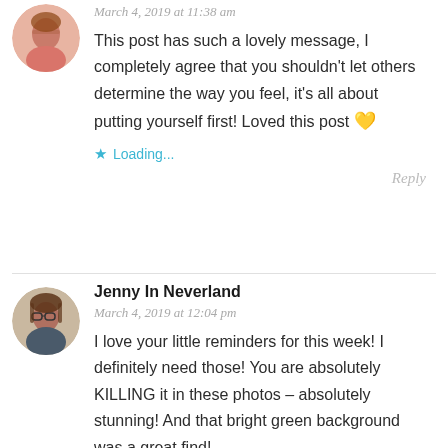March 4, 2019 at 11:38 am
This post has such a lovely message, I completely agree that you shouldn't let others determine the way you feel, it's all about putting yourself first! Loved this post 💛
★ Loading...
Reply
Jenny In Neverland
March 4, 2019 at 12:04 pm
I love your little reminders for this week! I definitely need those! You are absolutely KILLING it in these photos – absolutely stunning! And that bright green background was a great find!